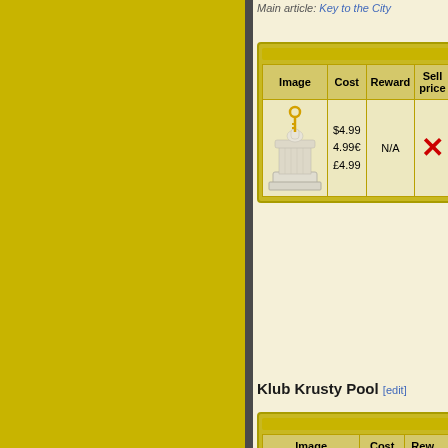Main article: Key to the City
| Image | Cost | Reward | Sell price |
| --- | --- | --- | --- |
| [statue image] | $4.99
4.99€
£4.99 | N/A | [X] |
Klub Krusty Pool [edit]
| Image | Cost | Rew... |
| --- | --- | --- |